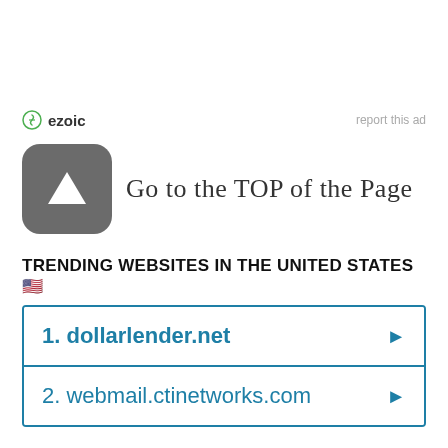[Figure (logo): Ezoic logo with circular icon and bold text 'ezoic', alongside 'report this ad' text on the right]
Go to the TOP of the Page
TRENDING WEBSITES IN THE UNITED STATES 🇺🇸
1. dollarlender.net
2. webmail.ctinetworks.com